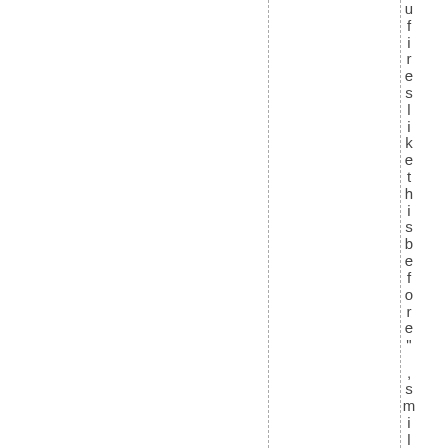u f i r e s l i k e t h i s b e f o r e ” , s m i l